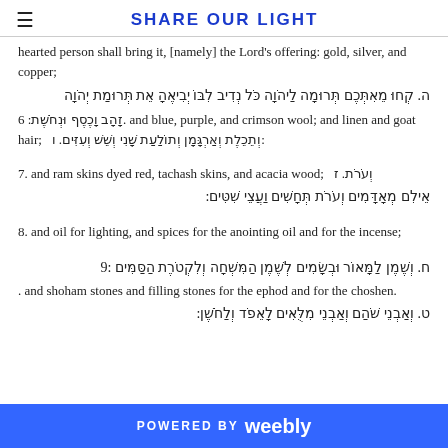SHARE OUR LIGHT
hearted person shall bring it, [namely] the Lord's offering: gold, silver, and copper;
ה. קְחוּ מֵאִתְּכֶם תְּרוּמָה לַיהֹוָה כֹּל נְדִיב לִבּוֹ יְבִיאֶהָ אֵת תְּרוּמַת יְהֹוָה זָהָב וָכֶסֶף וּנְחֹשֶׁת: 6. and blue, purple, and crimson wool; and linen and goat hair;  וְתֵכֵלֶת וְאַרְגָּמָן וְתוֹלַעַת שָׁנִי וְשֵׁשׁ וְעִזִּים. ו:
7. and ram skins dyed red, tachash skins, and acacia wood;  וְעֹרֹת. ז אֵילִם מְאָדָּמִים וְעֹרֹת תְּחָשִׁים וַעֲצֵי שִׁטִּים:
8. and oil for lighting, and spices for the anointing oil and for the incense;
9 :ח. וְשֶׁמֶן לַמָּאוֹר וּבְשָׂמִים לְשֶׁמֶן הַמִּשְׁחָה וְלִקְטֹרֶת הַסַּמִּים. and shoham stones and filling stones for the ephod and for the choshen. ט. וְאַבְנֵי שֹׁהַם וְאַבְנֵי מִלֻּאִים לָאֵפֹד וְלַחֹשֶׁן:
POWERED BY weebly